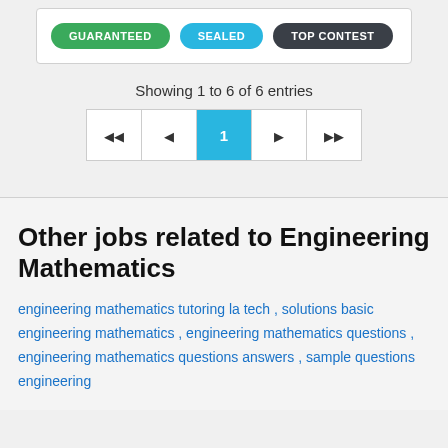[Figure (screenshot): UI badges: GUARANTEED (green), SEALED (blue), TOP CONTEST (dark)]
Showing 1 to 6 of 6 entries
[Figure (other): Pagination control with buttons: |<, <, 1 (active/blue), >, >|]
Other jobs related to Engineering Mathematics
engineering mathematics tutoring la tech , solutions basic engineering mathematics , engineering mathematics questions , engineering mathematics questions answers , sample questions engineering